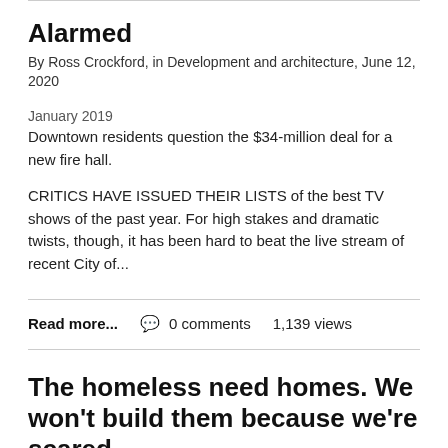Alarmed
By Ross Crockford, in Development and architecture, June 12, 2020
January 2019
Downtown residents question the $34-million deal for a new fire hall.
CRITICS HAVE ISSUED THEIR LISTS of the best TV shows of the past year. For high stakes and dramatic twists, though, it has been hard to beat the live stream of recent City of...
Read more...   0 comments   1,139 views
The homeless need homes. We won't build them because we're scared.